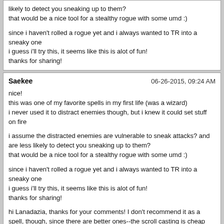likely to detect you sneaking up to them?
that would be a nice tool for a stealthy rogue with some umd :)

since i haven't rolled a rogue yet and i always wanted to TR into a sneaky one
i guess i'll try this, it seems like this is alot of fun!
thanks for sharing!
Saekee  06-26-2015, 09:24 AM

nice!
this was one of my favorite spells in my first life (was a wizard)
i never used it to distract enemies though, but i knew it could set stuff on fire

i assume the distracted enemies are vulnerable to sneak attacks? and are less likely to detect you sneaking up to them?
that would be a nice tool for a stealthy rogue with some umd :)

since i haven't rolled a rogue yet and i always wanted to TR into a sneaky one
i guess i'll try this, it seems like this is alot of fun!
thanks for sharing!

hi Lanadazia, thanks for your comments! I don't recommend it as a spell, though, since there are better ones--the scroll casting is cheap and easy. Distracted enemies are vulnerable to sneak attack, but only on the first hit. Then they stop gazing at the pretty fire ball and go after you. They will be less likely to perceive someone in stealth only in that they are facing a different direction, which counts for a lot. And yes--I think rogues and ninjas benefit the most from this thread!

I am still occasionally updating my findings. I use them in lots of situations; I plan to add just the bizarre stuff. For example, in Blown to Bits, it is fun to cast one before setting a charge. The timing is about right to draw mobs from the other side of the crates close enough to get hit by the explosion.

The main thing is that stealth and invisibility break when you cast it (unless you use some of the clever tricks mentioned above, like Improved Invisiblity). Hence it must be cast out of sight.